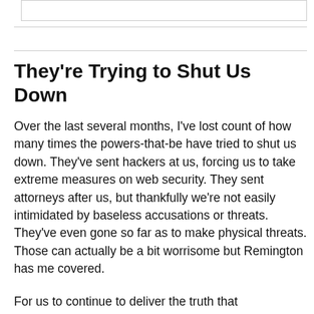They're Trying to Shut Us Down
Over the last several months, I've lost count of how many times the powers-that-be have tried to shut us down. They've sent hackers at us, forcing us to take extreme measures on web security. They sent attorneys after us, but thankfully we're not easily intimidated by baseless accusations or threats. They've even gone so far as to make physical threats. Those can actually be a bit worrisome but Remington has me covered.
For us to continue to deliver the truth that